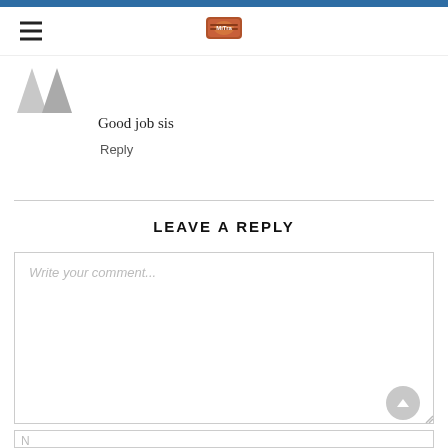Good job sis
Reply
LEAVE A REPLY
Write your comment...
N